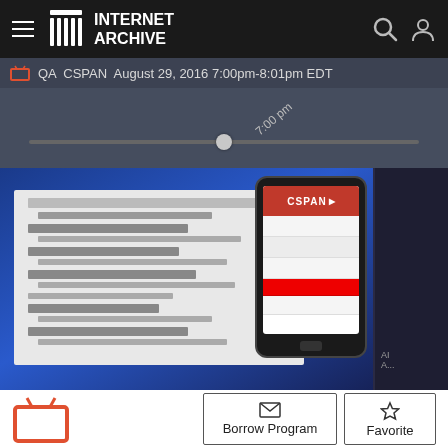INTERNET ARCHIVE
QA CSPAN August 29, 2016 7:00pm-8:01pm EDT
7:00 pm
[Figure (screenshot): Video player showing a CSPAN broadcast thumbnail with a CSPAN mobile app on a phone, on a dark blue background. A timeline scrubber is visible above the video frame.]
Borrow Program
Favorite
Q&A
CSPAN August 29, 2016 7:00pm-8:01pm EDT